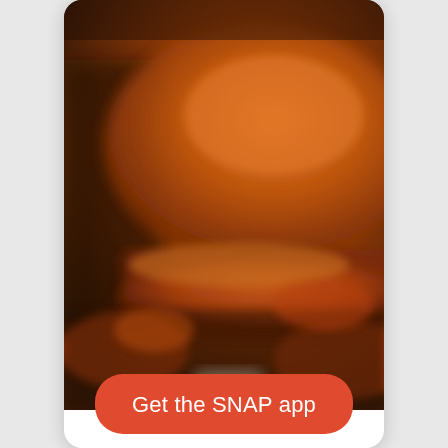[Figure (photo): Blurred close-up photo of a burger and food items on a table, warm orange-brown tones, used as a mobile app screenshot background]
Get the SNAP app